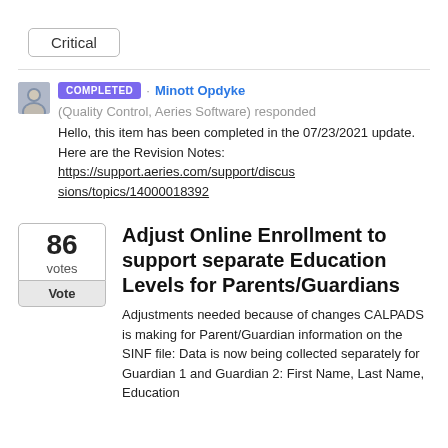Critical
COMPLETED · Minott Opdyke (Quality Control, Aeries Software) responded
Hello, this item has been completed in the 07/23/2021 update. Here are the Revision Notes: https://support.aeries.com/support/discussions/topics/14000018392
Adjust Online Enrollment to support separate Education Levels for Parents/Guardians
Adjustments needed because of changes CALPADS is making for Parent/Guardian information on the SINF file: Data is now being collected separately for Guardian 1 and Guardian 2: First Name, Last Name, Education